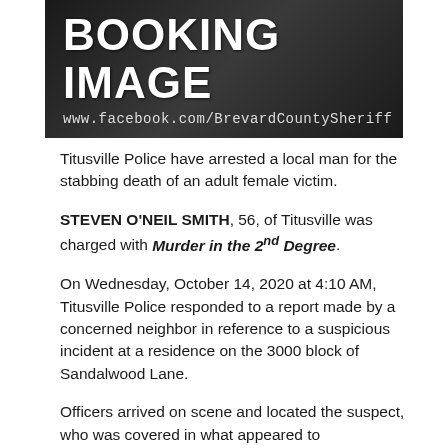[Figure (photo): Booking image banner with dark background showing 'BOOKING IMAGE' in large white bold text and 'www.facebook.com/BrevardCountySheriff' in lighter monospace text below]
Titusville Police have arrested a local man for the stabbing death of an adult female victim.
STEVEN O'NEIL SMITH, 56, of Titusville was charged with Murder in the 2nd Degree.
On Wednesday, October 14, 2020 at 4:10 AM, Titusville Police responded to a report made by a concerned neighbor in reference to a suspicious incident at a residence on the 3000 block of Sandalwood Lane.
Officers arrived on scene and located the suspect, who was covered in what appeared to be [obscured] the front porch of the residence.